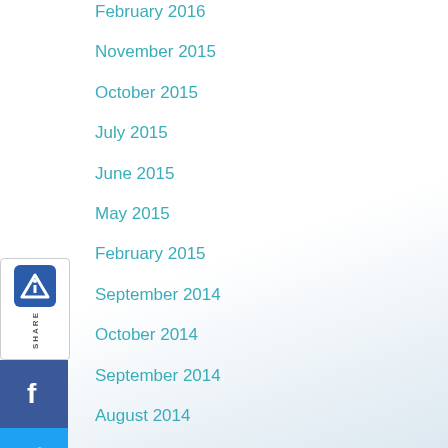February 2016
November 2015
October 2015
July 2015
June 2015
May 2015
February 2015
September 2014
October 2014
September 2014
August 2014
2014
2014
March 2014
September 2013
[Figure (screenshot): Social media share sidebar with icons for Avenza, Facebook, Twitter, Google+, LinkedIn, Pinterest, and Reddit]